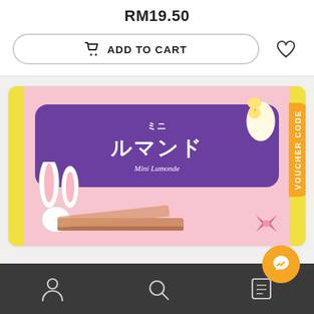RM19.50
ADD TO CART
[Figure (photo): Product package of Mini Lumonde Japanese candy/cookie, pink packaging with yellow borders, purple label with Japanese text ルマンド and English text Mini Lumonde, Easter bunny and chick decorations]
VOUCHER CODE